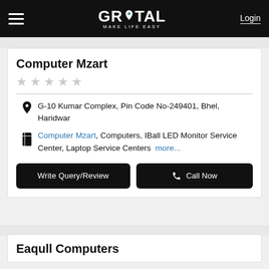GROTAL MAKE LIFE EASY | Login
Computer Mzart
G-10 Kumar Complex, Pin Code No-249401, Bhel, Haridwar
Computer Mzart, Computers, IBall LED Monitor Service Center, Laptop Service Centers more...
Eaqull Computers